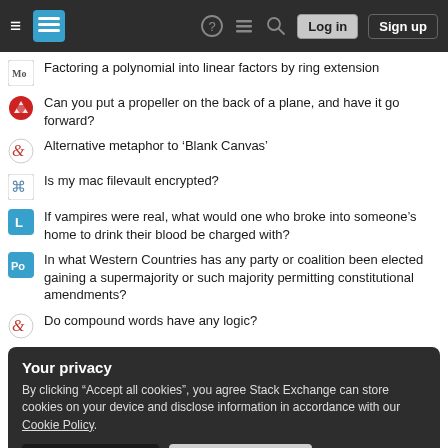Stack Exchange navigation header with Log in and Sign up buttons
Factoring a polynomial into linear factors by ring extension
Can you put a propeller on the back of a plane, and have it go forward?
Alternative metaphor to ‘Blank Canvas’
Is my mac filevault encrypted?
If vampires were real, what would one who broke into someone’s home to drink their blood be charged with?
In what Western Countries has any party or coalition been elected gaining a supermajority or such majority permitting constitutional amendments?
Do compound words have any logic?
Your privacy
By clicking “Accept all cookies”, you agree Stack Exchange can store cookies on your device and disclose information in accordance with our Cookie Policy.
Accept all cookies  Customize settings
Why is ‘Ground’ important?